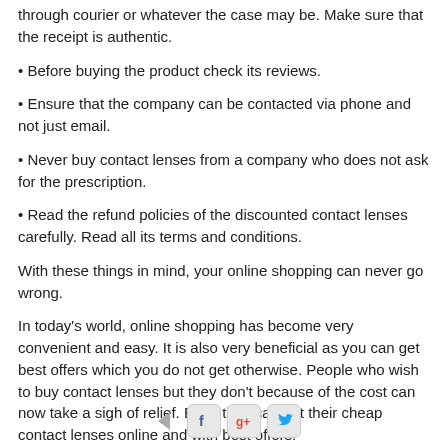through courier or whatever the case may be. Make sure that the receipt is authentic.
Before buying the product check its reviews.
Ensure that the company can be contacted via phone and not just email.
Never buy contact lenses from a company who does not ask for the prescription.
Read the refund policies of the discounted contact lenses carefully. Read all its terms and conditions.
With these things in mind, your online shopping can never go wrong.
In today's world, online shopping has become very convenient and easy. It is also very beneficial as you can get best offers which you do not get otherwise. People who wish to buy contact lenses but they don't because of the cost can now take a sigh of relief. Even they can get their cheap contact lenses online and with best offers.
[Figure (other): Social sharing buttons: back arrow, Facebook, Google+, Twitter]